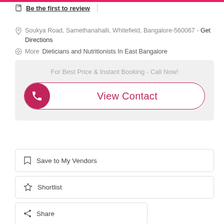Be the first to review
Soukya Road, Samethanahalli, Whitefield, Bangalore-560067 - Get Directions
More Dieticians and Nutritionists In East Bangalore
For Best Price & Instant Booking - Call Now!
View Contact
Save to My Vendors
Shortlist
Share
Sms